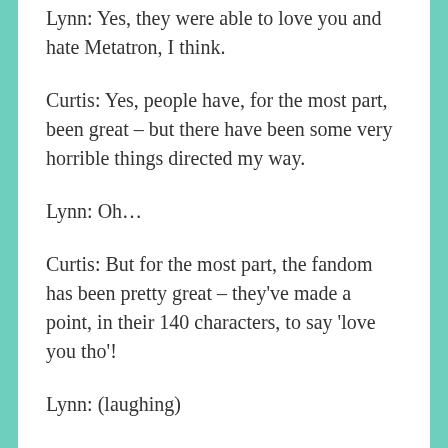Lynn: Yes, they were able to love you and hate Metatron, I think.
Curtis: Yes, people have, for the most part, been great – but there have been some very horrible things directed my way.
Lynn: Oh…
Curtis: But for the most part, the fandom has been pretty great – they've made a point, in their 140 characters, to say 'love you tho'!
Lynn: (laughing)
Curtis: (laughing) And that's always appreciated. But in a way, I think that it was – because of the way the fandom takes this show, which is unknown in my experience, the